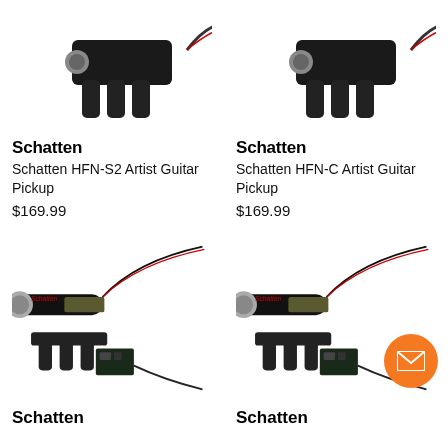[Figure (photo): Schatten HFN-S2 Artist Guitar Pickup product image - dark pickup device]
[Figure (photo): Schatten HFN-C Artist Guitar Pickup product image - dark pickup device]
Schatten
Schatten HFN-S2 Artist Guitar Pickup
$169.99
Schatten
Schatten HFN-C Artist Guitar Pickup
$169.99
[Figure (photo): Schatten guitar pickup kit with cylindrical pickup, saddle sensor, and circuit board with wiring]
[Figure (photo): Schatten guitar pickup kit with cylindrical pickup, saddle sensor, and circuit board with wiring - second variant]
Schatten
Schatten